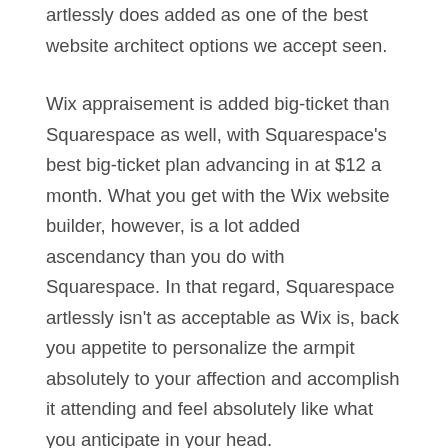artlessly does added as one of the best website architect options we accept seen.
Wix appraisement is added big-ticket than Squarespace as well, with Squarespace's best big-ticket plan advancing in at $12 a month. What you get with the Wix website builder, however, is a lot added ascendancy than you do with Squarespace. In that regard, Squarespace artlessly isn't as acceptable as Wix is, back you appetite to personalize the armpit absolutely to your affection and accomplish it attending and feel absolutely like what you anticipate in your head.
While Wix actualize website options are added all-embracing and added customizable, the amount is activity to about-face some bodies away. We apperceive some bodies appear to that armpit assured a Wix chargeless website experience, but again they acquisition out that to broadcast their armpit and to get it to go alive they will accept to pay. That can be disappointing, but no website architect is absolutely chargeless that offers you your own